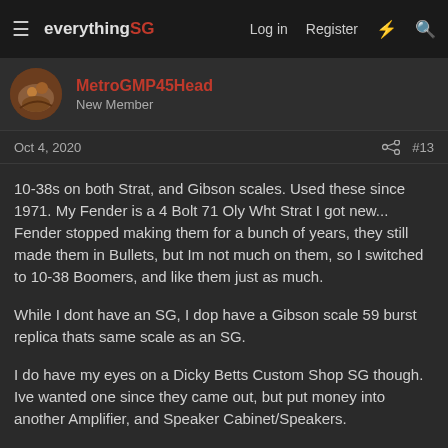everythingSG | Log in | Register
MetroGMP45Head
New Member
Oct 4, 2020  #13
10-38s on both Strat, and Gibson scales. Used these since 1971. My Fender is a 4 Bolt 71 Oly Wht Strat I got new... Fender stopped making them for a bunch of years, they still made them in Bullets, but Im not much on them, so I switched to 10-38 Boomers, and like them just as much.
While I dont have an SG, I dop have a Gibson scale 59 burst replica thats same scale as an SG.
I do have my eyes on a Dicky Betts Custom Shop SG though. Ive wanted one since they came out, but put money into another Amplifier, and Speaker Cabinet/Speakers.